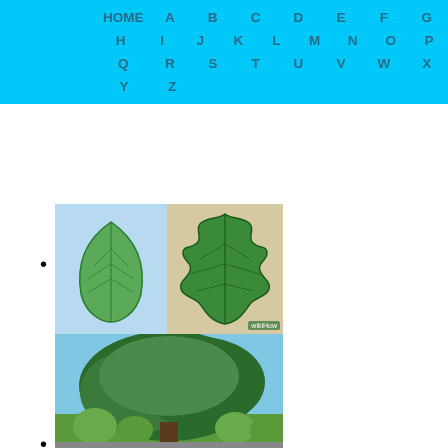HOME A B C D E F G H I J K L M N O P Q R S T U V W X Y Z
[Figure (photo): Two leaf illustrations side by side: left shows a simple elongated green leaf on blue background, right shows a lobed oak leaf on tan/beige background with wikiHow watermark]
[Figure (photo): Photograph of a large spreading tree with dense green foliage against a blue sky, with smaller rounded shrubs visible at the base]
[Figure (photo): Partially visible image at bottom of page]